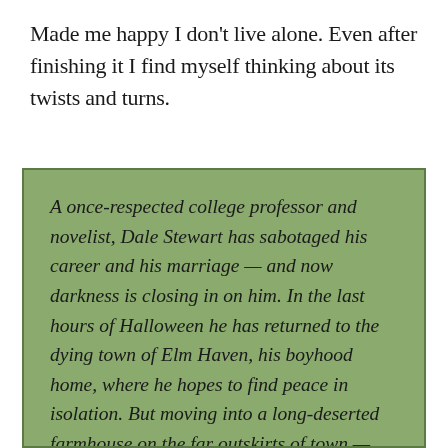Made me happy I don't live alone. Even after finishing it I find myself thinking about its twists and turns.
A once-respected college professor and novelist, Dale Stewart has sabotaged his career and his marriage — and now darkness is closing in on him. In the last hours of Halloween he has returned to the dying town of Elm Haven, his boyhood home, where he hopes to find peace in isolation. But moving into a long-deserted farmhouse on the far outskirts of town — the one-time residence of a strange and brilliant friend